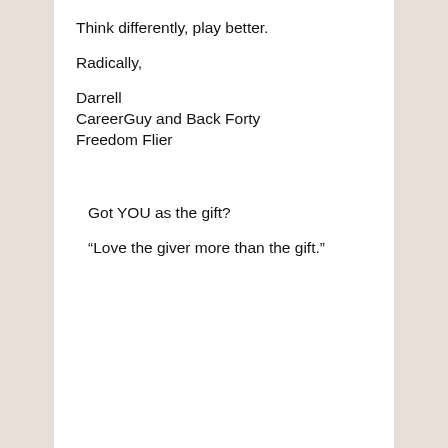Think differently, play better.
Radically,
Darrell
CareerGuy and Back Forty
Freedom Flier
Got YOU as the gift?
“Love the giver more than the gift.”